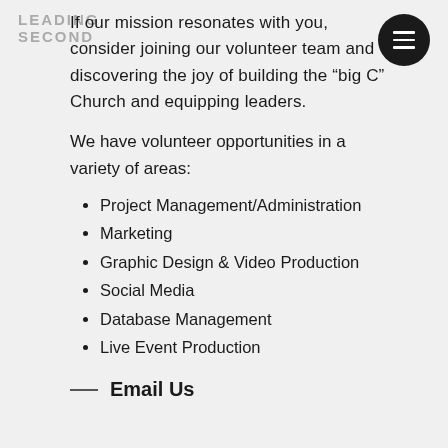LEADING SECOND
If our mission resonates with you, consider joining our volunteer team and discovering the joy of building the “big C” Church and equipping leaders.
We have volunteer opportunities in a variety of areas:
Project Management/Administration
Marketing
Graphic Design & Video Production
Social Media
Database Management
Live Event Production
Email Us